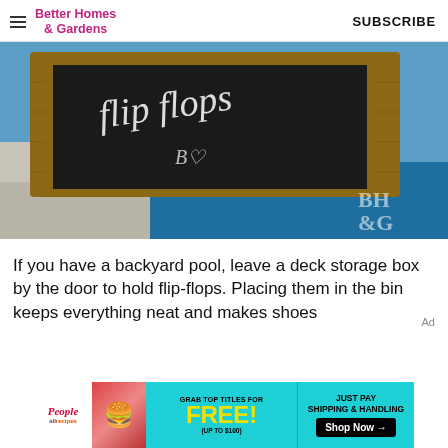Better Homes & Gardens | SUBSCRIBE
[Figure (photo): A wooden crate/box with a chalkboard front panel on which 'flip flops' is written in chalk, sitting on a blue and grey tiled floor near a pool area. BH&G watermark in bottom right corner.]
If you have a backyard pool, leave a deck storage box by the door to hold flip-flops. Placing them in the bin keeps everything neat and makes shoes
[Figure (infographic): Advertisement banner: People and allrecipes magazines promotion. 'GRAB TOP TITLES FOR FREE! (UP TO $100)' and 'JUST PAY SHIPPING & HANDLING Shop Now →' on a teal/cyan background.]